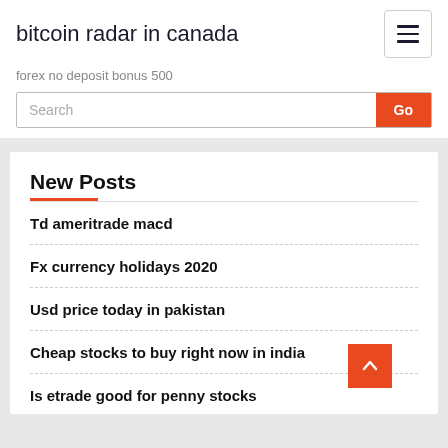bitcoin radar in canada
forex no deposit bonus 500
Search
New Posts
Td ameritrade macd
Fx currency holidays 2020
Usd price today in pakistan
Cheap stocks to buy right now in india
Is etrade good for penny stocks